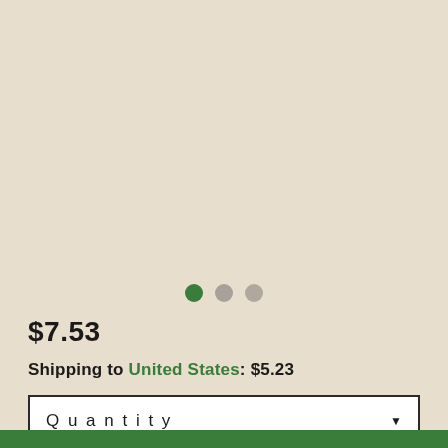[Figure (other): Three pagination dots: one green (active), two gray (inactive)]
$7.53
Shipping to United States: $5.23
Quantity